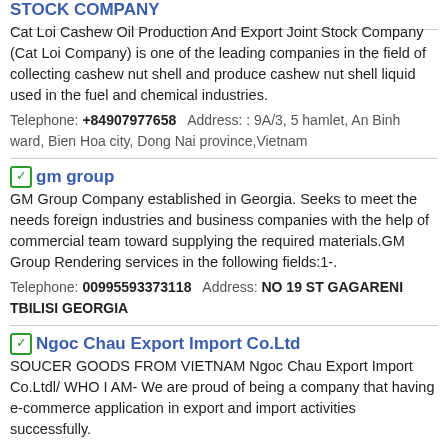STOCK COMPANY
Cat Loi Cashew Oil Production And Export Joint Stock Company (Cat Loi Company) is one of the leading companies in the field of collecting cashew nut shell and produce cashew nut shell liquid used in the fuel and chemical industries.
Telephone: +84907977658  Address: : 9A/3, 5 hamlet, An Binh ward, Bien Hoa city, Dong Nai province,Vietnam
gm group
GM Group Company established in Georgia. Seeks to meet the needs foreign industries and business companies with the help of commercial team toward supplying the required materials.GM Group Rendering services in the following fields:1-.
Telephone: 00995593373118  Address: NO 19 ST GAGARENI TBILISI GEORGIA
Ngoc Chau Export Import Co.Ltd
SOUCER GOODS FROM VIETNAM Ngoc Chau Export Import Co.Ltdl/ WHO I AM- We are proud of being a company that having e-commerce application in export and import activities successfully.
Telephone: 84902338498  Address: 33 vu tong phan ,Quan 2, thanh pho Ho Chi Minh, 33 vu tong phan ,Quan 2, thanh pho Ho Chi Minh
Zhongshan Guzhen Vmax Buying Trading Agent Company
Zhongshan Guzhen Vmax Trading Agent Company is a professional ligh